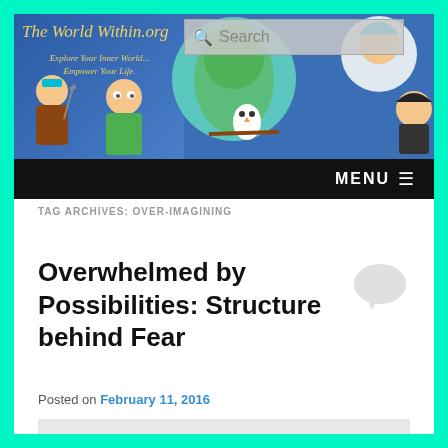[Figure (screenshot): Website header banner for TheWorldWithin.org with illustrated characters, globe, and search bar]
MENU ☰
TAG ARCHIVES: OVER-IMAGINING
Overwhelmed by Possibilities: Structure behind Fear
Posted on February 11, 2016